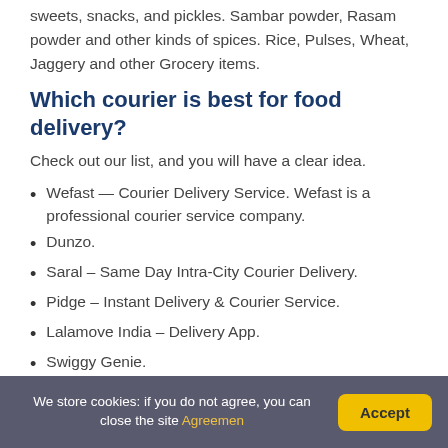sweets, snacks, and pickles. Sambar powder, Rasam powder and other kinds of spices. Rice, Pulses, Wheat, Jaggery and other Grocery items.
Which courier is best for food delivery?
Check out our list, and you will have a clear idea.
Wefast — Courier Delivery Service. Wefast is a professional courier service company.
Dunzo.
Saral – Same Day Intra-City Courier Delivery.
Pidge – Instant Delivery & Courier Service.
Lalamove India – Delivery App.
Swiggy Genie.
Which courier service can send food?
We store cookies: if you do not agree, you can close the site Agreemen